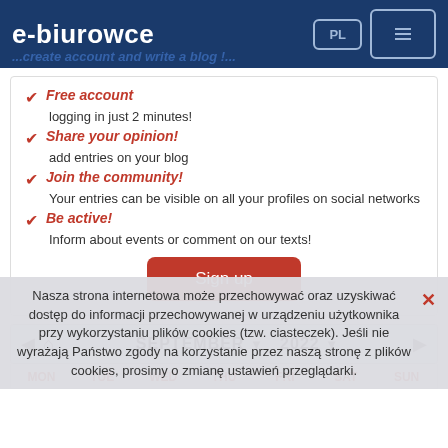e-biurowce
...create account and write a blog !...
Free account – logging in just 2 minutes!
Share your opinion! – add entries on your blog
Join the community! – Your entries can be visible on all your profiles on social networks
Be active! – Inform about events or comment on our texts!
Sign up
SEPTEMBER ▾  2022 ▾
MON  TUE  WED  THU  FRI  SAT  SUN
Nasza strona internetowa może przechowywać oraz uzyskiwać dostęp do informacji przechowywanej w urządzeniu użytkownika przy wykorzystaniu plików cookies (tzw. ciasteczek). Jeśli nie wyrażają Państwo zgody na korzystanie przez naszą stronę z plików cookies, prosimy o zmianę ustawień przeglądarki.